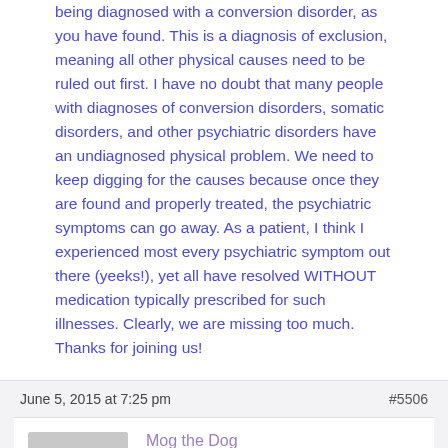being diagnosed with a conversion disorder, as you have found. This is a diagnosis of exclusion, meaning all other physical causes need to be ruled out first. I have no doubt that many people with diagnoses of conversion disorders, somatic disorders, and other psychiatric disorders have an undiagnosed physical problem. We need to keep digging for the causes because once they are found and properly treated, the psychiatric symptoms can go away. As a patient, I think I experienced most every psychiatric symptom out there (yeeks!), yet all have resolved WITHOUT medication typically prescribed for such illnesses. Clearly, we are missing too much. Thanks for joining us!
June 5, 2015 at 7:25 pm
#5506
[Figure (illustration): Generic grey avatar silhouette icon]
Mog the Dog
Participant
For the record, I have never been diagnosed with a conversion disorder and would never allow it to be put on my medical records if a doctor ever suggested it to me.
I agree with Dr. Barnum that labeling a patient with "conversion